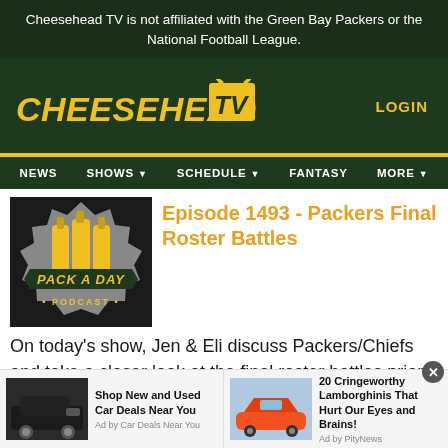Cheesehead TV is not affiliated with the Green Bay Packers or the National Football League.
[Figure (logo): Cheesehead TV logo with yellow text and TV icon]
LOGIN
NEWS  SHOWS  SCHEDULE  FANTASY  MORE
[Figure (logo): Pack A Day Podcast logo with beer bottles]
Episode 1493 - Packers Final Roster Battles
On today's show, Jen & Eli discuss Packers/Chiefs and take a closer look at the final roster battles prior to cut down day on Tuesday. You won't want to miss it!
[Figure (photo): Ad: Dark SUV - Shop New and Used Car Deals Near You - Ad by Car Deals Near You]
[Figure (photo): Ad: Blue Lamborghini - 20 Cringeworthy Lamborghinis That Hurt Our Eyes and Brains! - Ad by PityNews]